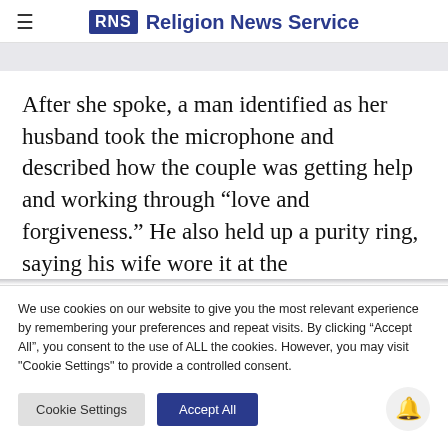RNS Religion News Service
After she spoke, a man identified as her husband took the microphone and described how the couple was getting help and working through “love and forgiveness.” He also held up a purity ring, saying his wife wore it at the
We use cookies on our website to give you the most relevant experience by remembering your preferences and repeat visits. By clicking “Accept All”, you consent to the use of ALL the cookies. However, you may visit "Cookie Settings" to provide a controlled consent.
Cookie Settings | Accept All